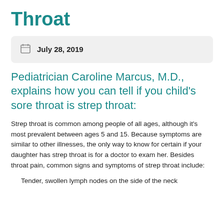Throat
July 28, 2019
Pediatrician Caroline Marcus, M.D., explains how you can tell if you child's sore throat is strep throat:
Strep throat is common among people of all ages, although it's most prevalent between ages 5 and 15. Because symptoms are similar to other illnesses, the only way to know for certain if your daughter has strep throat is for a doctor to exam her.  Besides throat pain, common signs and symptoms of strep throat include:
Tender, swollen lymph nodes on the side of the neck